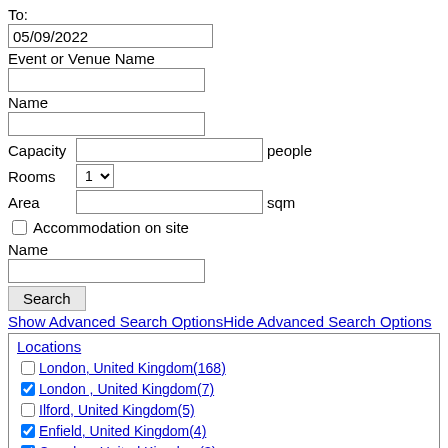To:
05/09/2022
Event or Venue Name
Name
Capacity  [input]  people
Rooms  1 [dropdown]
Area  [input]  sqm
Accommodation on site
Name
Search
Show Advanced Search OptionsHide Advanced Search Options
Locations
London, United Kingdom(168)
London , United Kingdom(7)
Ilford, United Kingdom(5)
Enfield, United Kingdom(4)
Croydon, United Kingdom(3)
Hounslow, United Kingdom(2)
Ealing, United Kingdom(2)